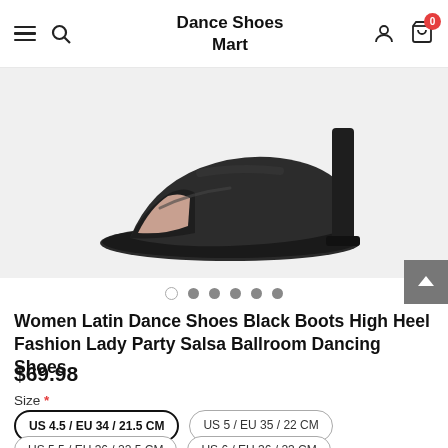Dance Shoes Mart
[Figure (photo): Black women's latin dance high heel shoe against white background, viewed from front-side angle showing open toe and block heel.]
Women Latin Dance Shoes Black Boots High Heel Fashion Lady Party Salsa Ballroom Dancing Shoes
$69.98
Size *
US 4.5 / EU 34 / 21.5 CM
US 5 / EU 35 / 22 CM
US 5.5 / EU 36 / 22.5 CM
US 6 / EU 36 / 23 CM